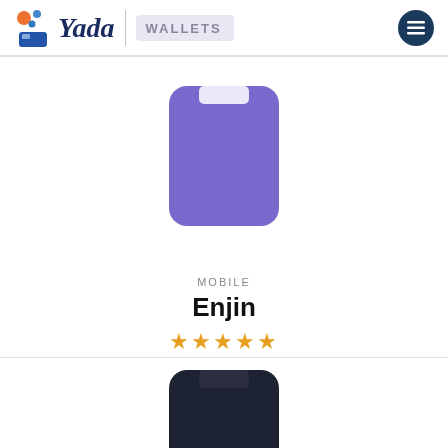Yada | WALLETS
[Figure (illustration): Purple rounded rectangle wallet icon for Enjin wallet]
MOBILE
Enjin
★★★★★ (5 stars)
[Figure (illustration): Dark rounded rectangle wallet icon partially visible at bottom of page]